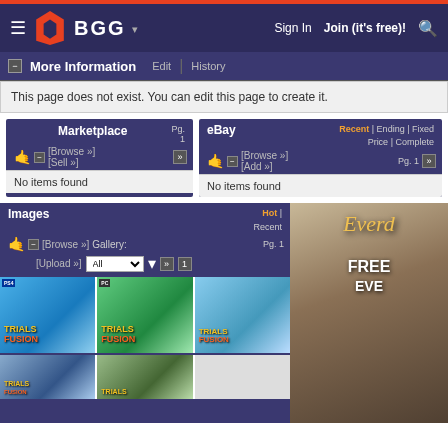BGG navigation bar with Sign In, Join (it's free)!, and search icon
More Information | Edit | History
This page does not exist. You can edit this page to create it.
Marketplace — [Browse »] [Sell »] Pg. 1 — No items found
eBay — Recent | Ending | Fixed Price | Complete — [Browse »] [Add »] Pg. 1 — No items found
Images — Hot | Recent — [Browse »] Gallery: All [Upload »] Pg. 1
[Figure (screenshot): Trials Fusion PS4 game cover thumbnail]
[Figure (screenshot): Trials Fusion PC game cover thumbnail]
[Figure (screenshot): Trials Fusion third cover thumbnail]
[Figure (photo): Everdell board game advertisement showing golden text on misty forest background with FREE and EVE text]
[Figure (screenshot): Trials Fusion Xbox One cover thumbnail (partial)]
[Figure (screenshot): Trials game second bottom row thumbnail (partial)]